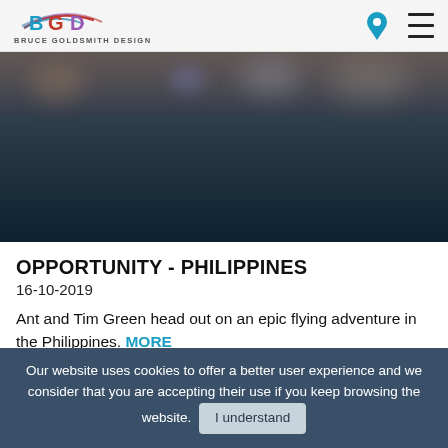Bruce Goldsmith Design
[Figure (photo): Dark underwater or aerial photo used as hero/banner image for the article about Philippines flying adventure]
OPPORTUNITY - PHILIPPINES
16-10-2019
Ant and Tim Green head out on an epic flying adventure in the Philippines. MORE
Our website uses cookies to offer a better user experience and we consider that you are accepting their use if you keep browsing the website. I understand